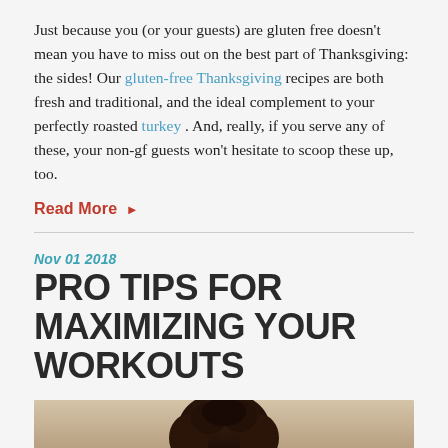Just because you (or your guests) are gluten free doesn't mean you have to miss out on the best part of Thanksgiving: the sides! Our gluten-free Thanksgiving recipes are both fresh and traditional, and the ideal complement to your perfectly roasted turkey . And, really, if you serve any of these, your non-gf guests won't hesitate to scoop these up, too.
Read More ▶
Nov 01 2018
PRO TIPS FOR MAXIMIZING YOUR WORKOUTS
[Figure (photo): A person with curly hair photographed from the shoulders up against a warm tan/beige background, partially visible at the bottom of the page.]